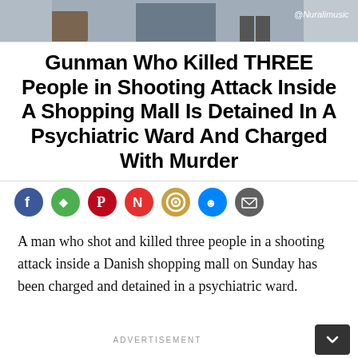[Figure (photo): Top portion of a news article photo showing people/legs and luggage with @Nuralimusic watermark]
Gunman Who Killed THREE People in Shooting Attack Inside A Shopping Mall Is Detained In A Psychiatric Ward And Charged With Murder
[Figure (other): Social media share buttons: Facebook, Flipboard, Pinterest, News break, Instagram/target, Messenger, Email]
A man who shot and killed three people in a shooting attack inside a Danish shopping mall on Sunday has been charged and detained in a psychiatric ward.
ADVERTISEMENT